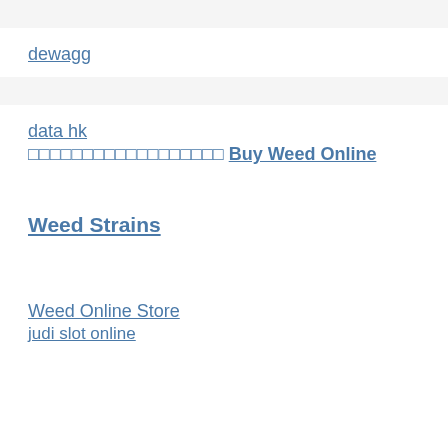dewagg
data hk
□□□□□□□□□□□□□□□□□□ Buy Weed Online
Weed Strains
Weed Online Store
judi slot online